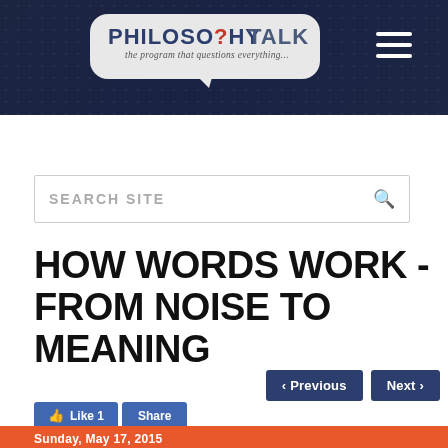[Figure (logo): Philosophy Talk logo — speech bubble with text 'PHILOSO?HY TALK' and tagline 'the program that questions everything...' on dark navy header background with hamburger menu icon]
HOW WORDS WORK - FROM NOISE TO MEANING
‹ Previous   Next ›
Like 1   Share
Sunday, May 17, 2015